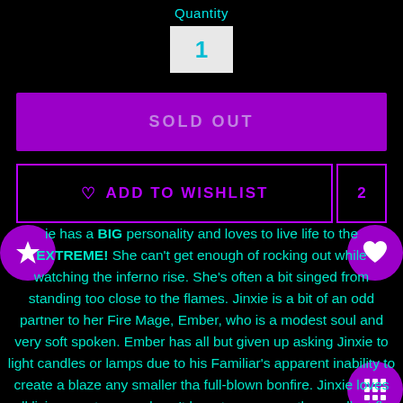Quantity
1
SOLD OUT
♡ ADD TO WISHLIST
2
ie has a BIG personality and loves to live life to the EXTREME! She can't get enough of rocking out while watching the inferno rise. She's often a bit singed from standing too close to the flames. Jinxie is a bit of an odd partner to her Fire Mage, Ember, who is a modest soul and very soft spoken. Ember has all but given up asking Jinxie to light candles or lamps due to his Familiar's apparent inability to create a blaze any smaller tha full-blown bonfire. Jinxie loves all living creatures and can't bear to see even the smallest fly get hurt - which is why she keeps a never-ending